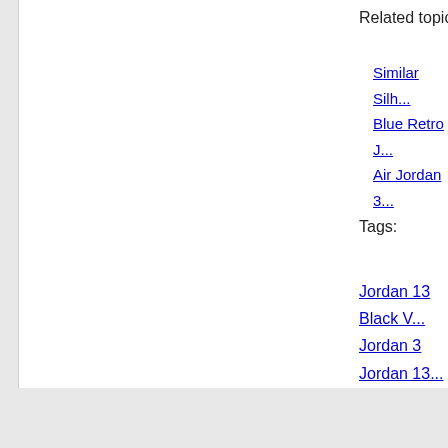Related topics↵
Similar Silh...
Blue Retro J...
Air Jordan 3...
Tags:
Jordan 13 Black V... Jordan 3 Jordan 13... 9.5Y
© Copyright 2001-2020 Air Jordan 13 G... Outfits With Black Retro Jordans 13 Hyper Pink|Black Rec...